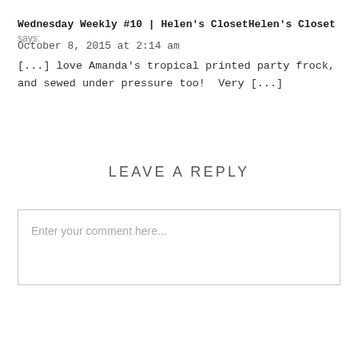Wednesday Weekly #10 | Helen's ClosetHelen's Closet says:
October 8, 2015 at 2:14 am
[...] love Amanda's tropical printed party frock, and sewed under pressure too!  Very [...]
LEAVE A REPLY
Enter your comment here...